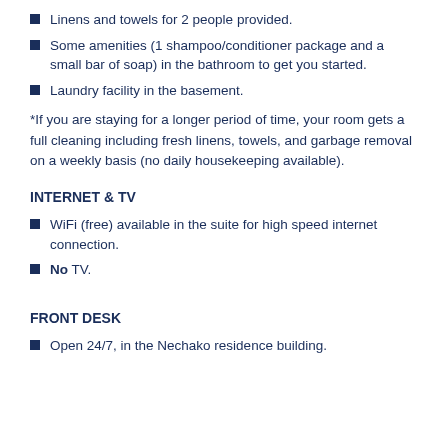Linens and towels for 2 people provided.
Some amenities (1 shampoo/conditioner package and a small bar of soap) in the bathroom to get you started.
Laundry facility in the basement.
*If you are staying for a longer period of time, your room gets a full cleaning including fresh linens, towels, and garbage removal on a weekly basis (no daily housekeeping available).
INTERNET & TV
WiFi (free) available in the suite for high speed internet connection.
No TV.
FRONT DESK
Open 24/7, in the Nechako residence building.